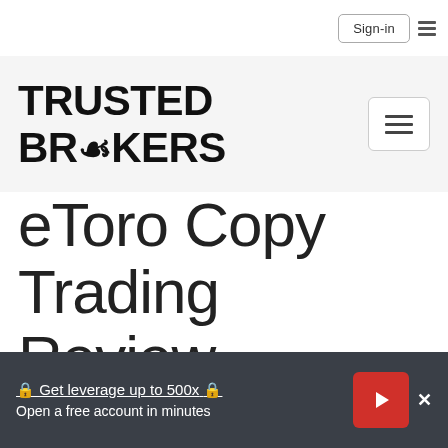Sign-in
[Figure (logo): TRUSTED BROKERS logo with laurel wreath emblem replacing the O in BROKERS]
eToro Copy Trading Review
🔒 Get leverage up to 500x 🔒
Open a free account in minutes